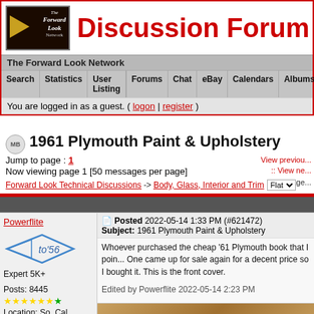Discussion Forum - The Forward Look Network
The Forward Look Network
Search | Statistics | User Listing | Forums | Chat | eBay | Calendars | Albums | Skins
You are logged in as a guest. ( logon | register )
1961 Plymouth Paint & Upholstery
Jump to page : 1
Now viewing page 1 [50 messages per page]
Forward Look Technical Discussions -> Body, Glass, Interior and Trim
Powerflite
Posted 2022-05-14 1:33 PM (#621472)
Subject: 1961 Plymouth Paint & Upholstery
Whoever purchased the cheap '61 Plymouth book that I poin... One came up for sale again for a decent price so I bought it. This is the front cover.
Edited by Powerflite 2022-05-14 2:23 PM
Expert 5K+
Posts: 8445
Location: So. Cal